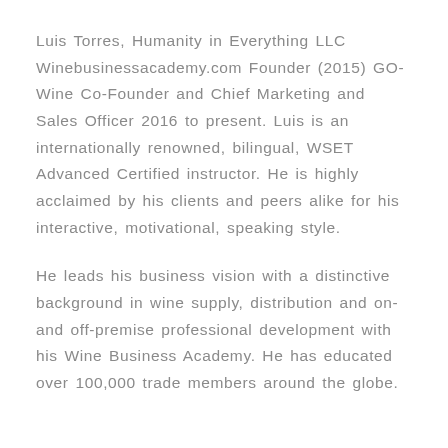Luis Torres, Humanity in Everything LLC Winebusinessacademy.com Founder (2015) GO-Wine Co-Founder and Chief Marketing and Sales Officer 2016 to present. Luis is an internationally renowned, bilingual, WSET Advanced Certified instructor. He is highly acclaimed by his clients and peers alike for his interactive, motivational, speaking style.
He leads his business vision with a distinctive background in wine supply, distribution and on-and off-premise professional development with his Wine Business Academy. He has educated over 100,000 trade members around the globe.